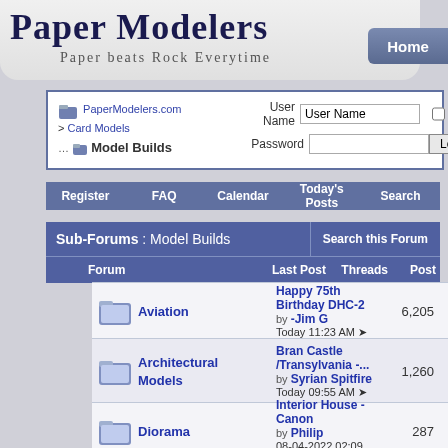Paper Modelers — Paper beats Rock Everytime
PaperModelers.com > Card Models — Model Builds
User Name | Password | Remember Me? | Log in
| Register | FAQ | Calendar | Today's Posts | Search |
| --- | --- | --- | --- | --- |
|  |
Sub-Forums : Model Builds
| Forum | Last Post | Threads | Posts |
| --- | --- | --- | --- |
| Aviation | Happy 75th Birthday DHC-2 by -Jim G Today 11:23 AM | 6,205 | 172,3... |
| Architectural Models | Bran Castle /Transylvania -... by Syrian Spitfire Today 09:55 AM | 1,260 | 18,8... |
| Diorama | Interior House - Canon by Philip 08-04-2022 02:09 PM | 287 | 4,44... |
| Figurines and Anime | Star Wars helmets by Viator 06-25-2022 04:16 PM | 874 | 10,95... |